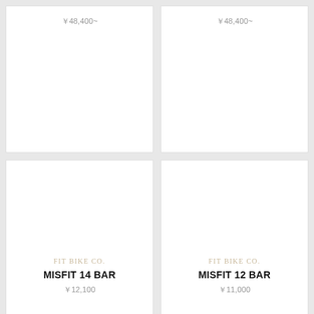￥48,400~
￥48,400~
FIT BIKE CO.
MISFIT 14 BAR
￥12,100
FIT BIKE CO.
MISFIT 12 BAR
￥11,000